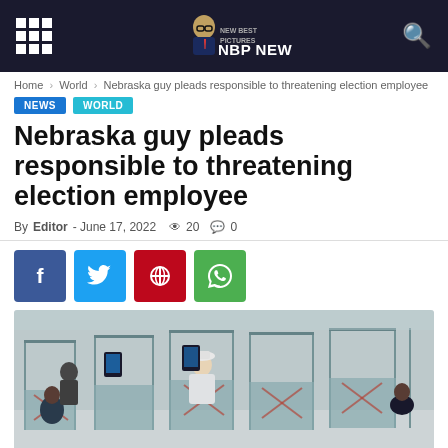NBP NEWS
Home > World > Nebraska guy pleads responsible to threatening election employee
NEWS  WORLD
Nebraska guy pleads responsible to threatening election employee
By Editor - June 17, 2022  20  0
[Figure (photo): Aerial view of voting booths with people standing at ballot stations in a large room]